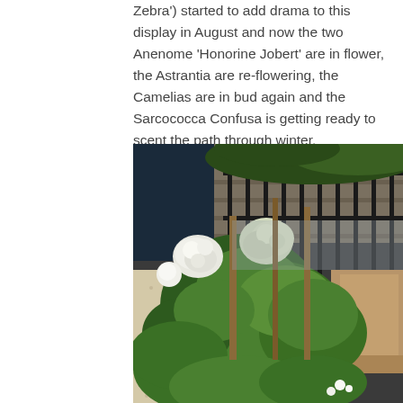Zebra') started to add drama to this display in August and now the two Anenome 'Honorine Jobert' are in flower, the Astrantia are re-flowering, the Camelias are in bud again and the Sarcococca Confusa is getting ready to scent the path through winter.
[Figure (photo): Garden photo showing lush green plants, white hydrangea flowers, a gravel path on the left, black metal railings in the background, and a stone or brick wall behind. A tan/brown bench or object is visible on the right side.]